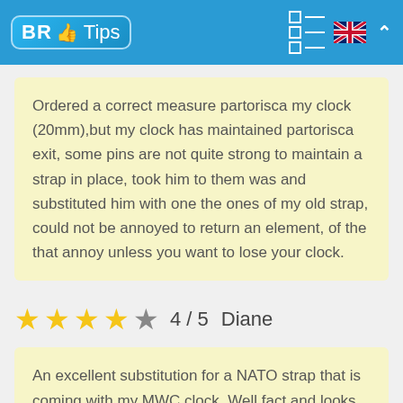BR Tips
Ordered a correct measure partorisca my clock (20mm),but my clock has maintained partorisca exit, some pins are not quite strong to maintain a strap in place, took him to them was and substituted him with one the ones of my old strap, could not be annoyed to return an element, of the that annoy unless you want to lose your clock.
4 / 5  Diane
An excellent substitution for a NATO strap that is coming with my MWC clock. Well fact and looks